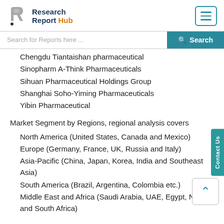Research Report Hub
Chengdu Tiantaishan pharmaceutical
Sinopharm A-Think Pharmaceuticals
Sihuan Pharmaceutical Holdings Group
Shanghai Soho-Yiming Pharmaceuticals
Yibin Pharmaceutical
Market Segment by Regions, regional analysis covers
North America (United States, Canada and Mexico)
Europe (Germany, France, UK, Russia and Italy)
Asia-Pacific (China, Japan, Korea, India and Southeast Asia)
South America (Brazil, Argentina, Colombia etc.)
Middle East and Africa (Saudi Arabia, UAE, Egypt, Nigeria and South Africa)